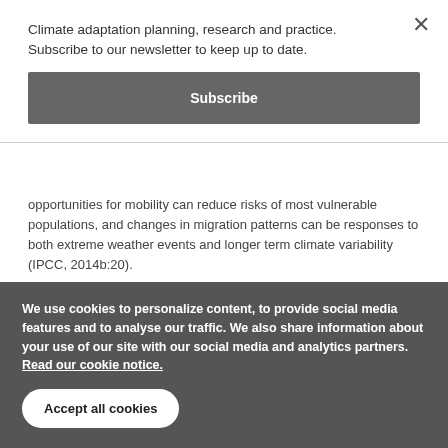Climate adaptation planning, research and practice. Subscribe to our newsletter to keep up to date.
Subscribe
opportunities for mobility can reduce risks of most vulnerable populations, and changes in migration patterns can be responses to both extreme weather events and longer term climate variability (IPCC, 2014b:20).
Building on the research of “migration as adaptation” (inter alia, Tacoli, 2009; Mclaren and Leiter, 2019; Brzoska and Fröhlich...
We use cookies to personalize content, to provide social media features and to analyse our traffic. We also share information about your use of our site with our social media and analytics partners. Read our cookie notice.
Accept all cookies